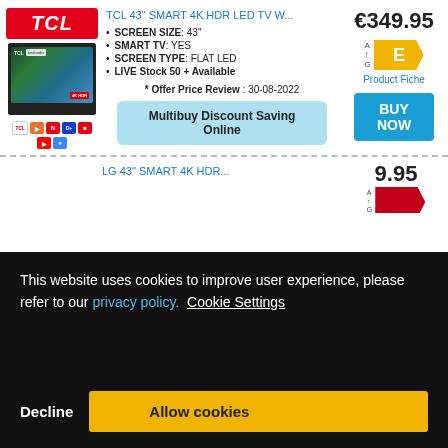[Figure (screenshot): TCL 43 inch Smart 4K HDR LED TV product listing page with TCL logo, product image, specifications, energy rating E label, price €349.95, and BUY NOW button. Below is a cookie consent banner overlay obscuring a second LG product listing.]
TCL 43" SMART 4K HDR LED TV W...
SCREEN SIZE : 43"
SMART TV : YES
SCREEN TYPE : FLAT LED
LIVE Stock 50 + Available
* Offer Price Review : 30-08-2022
Multibuy Discount Saving Online
€349.95
Product Fiche
BUY NOW
LG 43" SMART 4K HDR...
9.95
This website uses cookies to improve user experience, please refer to our privacy policy.  Cookie Settings
Decline
Allow cookies